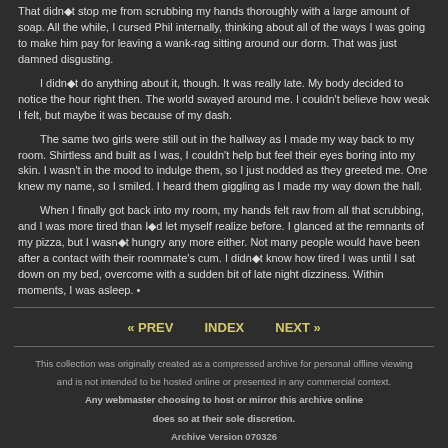That didn◆t stop me from scrubbing my hands thoroughly with a large amount of soap. All the while, I cursed Phil internally, thinking about all of the ways I was going to make him pay for leaving a wank-rag sitting around our dorm. That was just damned disgusting.
I didn◆t do anything about it, though. It was really late. My body decided to notice the hour right then. The world swayed around me. I couldn't believe how weak I felt, but maybe it was because of my dash.
The same two girls were still out in the hallway as I made my way back to my room. Shirtless and built as I was, I couldn't help but feel their eyes boring into my skin. I wasn't in the mood to indulge them, so I just nodded as they greeted me. One knew my name, so I smiled. I heard them giggling as I made my way down the hall.
When I finally got back into my room, my hands felt raw from all that scrubbing, and I was more tired than I◆d let myself realize before. I glanced at the remnants of my pizza, but I wasn◆t hungry any more either. Not many people would have been after a contact with their roommate's cum. I didn◆t know how tired I was until I sat down on my bed, overcome with a sudden bit of late night dizziness. Within moments, I was asleep. •
« PREV   INDEX   NEXT »
This collection was originally created as a compressed archive for personal offline viewing
and is not intended to be hosted online or presented in any commercial context.

Any webmaster choosing to host or mirror this archive online
does so at their sole discretion.

Archive Version 070326